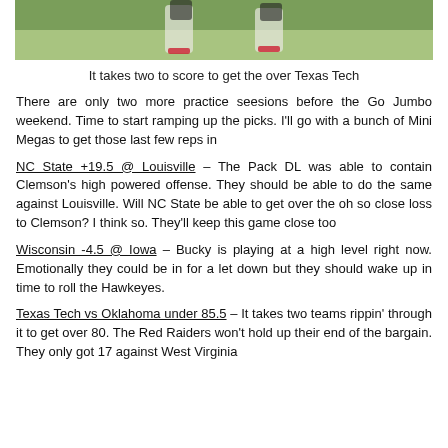[Figure (photo): Cropped photo of a football player on a green field, showing lower body/legs in white shoes]
It takes two to score to get the over Texas Tech
There are only two more practice seesions before the Go Jumbo weekend. Time to start ramping up the picks. I'll go with a bunch of Mini Megas to get those last few reps in
NC State +19.5 @ Louisville – The Pack DL was able to contain Clemson's high powered offense. They should be able to do the same against Louisville. Will NC State be able to get over the oh so close loss to Clemson? I think so. They'll keep this game close too
Wisconsin -4.5 @ Iowa – Bucky is playing at a high level right now. Emotionally they could be in for a let down but they should wake up in time to roll the Hawkeyes.
Texas Tech vs Oklahoma under 85.5 – It takes two teams rippin' through it to get over 80. The Red Raiders won't hold up their end of the bargain. They only got 17 against West Virginia.